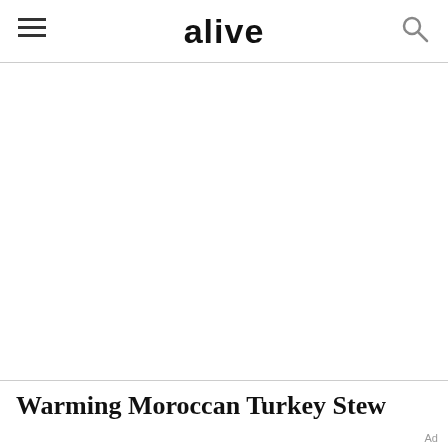alive
[Figure (other): Large white/blank image area below header]
Warming Moroccan Turkey Stew
Ad